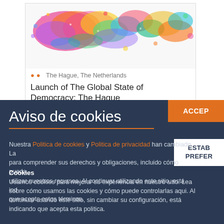[Figure (illustration): Colorful splatter-art world map illustration]
The Hague, The Netherlands
Launch of The Global State of Democracy: The Hague
Aviso de cookies
Nuestra Politica de cookies y Politica de privacidad han cambiado. La para comprender sus derechos y obligaciones, incluido cómo pueda utilizar nuestros recursos. Al continuar utilizando este sitio, está ind que acepta estos términos.
Cookies
Usamos cookies para mejorar su experiencia en nuestro sitio. Lea sobre cómo usamos las cookies y cómo puede controlarlas aqui. Al continuar usando este sitio, sin cambiar su configuración, está indicando que acepta esta politica.